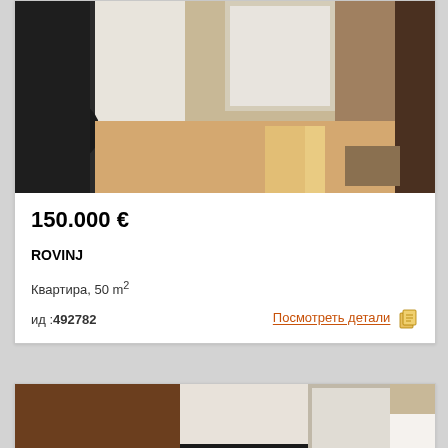[Figure (photo): Interior room photo showing wooden floor hallway with light and dark furniture, partially visible at top]
150.000 €
ROVINJ
Квартира, 50 m²
ид :492782
Посмотреть детали
[Figure (photo): Interior apartment room showing dark brown wardrobe on left, black TV cabinet in center, white door open to another room with yellow chair visible, white refrigerator on right, watermark Etinfo visible]